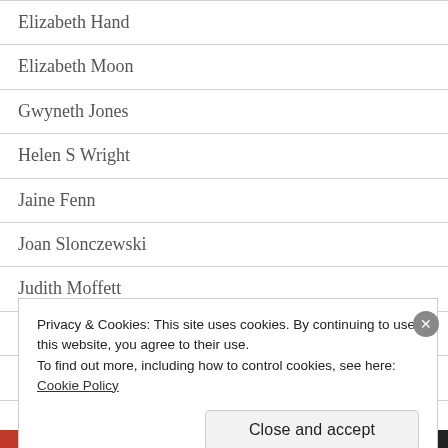Elizabeth Hand
Elizabeth Moon
Gwyneth Jones
Helen S Wright
Jaine Fenn
Joan Slonczewski
Judith Moffett
Julie E Czerneda
Justina Robson
Privacy & Cookies: This site uses cookies. By continuing to use this website, you agree to their use.
To find out more, including how to control cookies, see here:
Cookie Policy
Close and accept